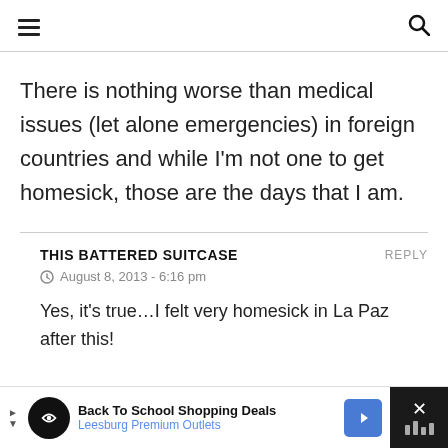Navigation menu and search icon header bar
There is nothing worse than medical issues (let alone emergencies) in foreign countries and while I’m not one to get homesick, those are the days that I am.
THIS BATTERED SUITCASE
August 8, 2013 - 6:16 pm
Yes, it’s true…I felt very homesick in La Paz after this!
Back To School Shopping Deals Leesburg Premium Outlets